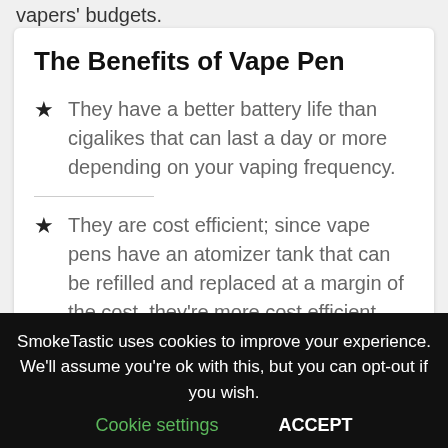vapers' budgets.
The Benefits of Vape Pen
They have a better battery life than cigalikes that can last a day or more depending on your vaping frequency.
They are cost efficient; since vape pens have an atomizer tank that can be refilled and replaced at a margin of the cost, they're more cost efficient than buying
SmokeTastic uses cookies to improve your experience. We'll assume you're ok with this, but you can opt-out if you wish.
Cookie settings   ACCEPT